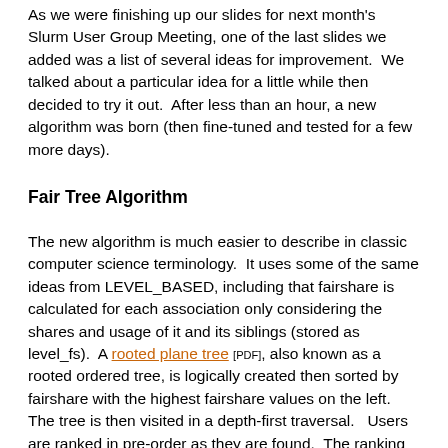As we were finishing up our slides for next month's Slurm User Group Meeting, one of the last slides we added was a list of several ideas for improvement.  We talked about a particular idea for a little while then decided to try it out.  After less than an hour, a new algorithm was born (then fine-tuned and tested for a few more days).
Fair Tree Algorithm
The new algorithm is much easier to describe in classic computer science terminology.  It uses some of the same ideas from LEVEL_BASED, including that fairshare is calculated for each association only considering the shares and usage of it and its siblings (stored as level_fs).  A rooted plane tree [PDF], also known as a rooted ordered tree, is logically created then sorted by fairshare with the highest fairshare values on the left.  The tree is then visited in a depth-first traversal.   Users are ranked in pre-order as they are found.  The ranking is used to create the final fairshare factor for the user.
The algorithm performs a single traversal of the tree since all